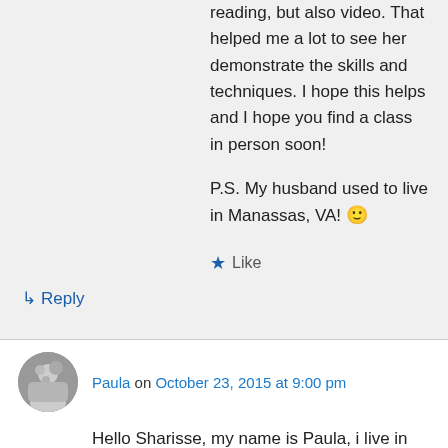reading, but also video. That helped me a lot to see her demonstrate the skills and techniques. I hope this helps and I hope you find a class in person soon!
P.S. My husband used to live in Manassas, VA! 🙂
★ Like
↳ Reply
Paula on October 23, 2015 at 9:00 pm
Hello Sharisse, my name is Paula, i live in Panama.
I found accidentally on instagram some artist who makes very beautiful letters with colour